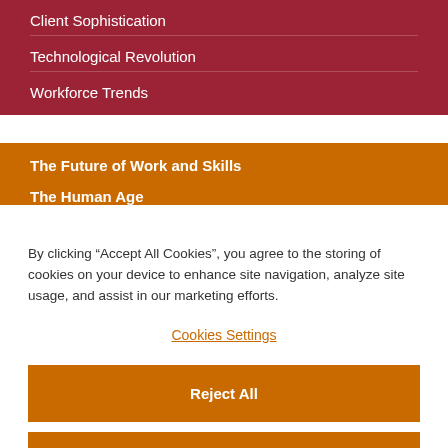Client Sophistication
Technological Revolution
Workforce Trends
The Future of Work and Skills
The Human Age
By clicking “Accept All Cookies”, you agree to the storing of cookies on your device to enhance site navigation, analyze site usage, and assist in our marketing efforts.
Cookies Settings
Reject All
Accept All Cookies